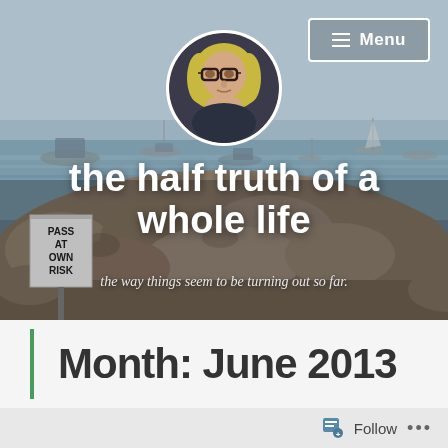[Figure (photo): Blog header image showing a harbor scene with boats on water and rocky breakwater, with a circular profile photo of a blonde woman wearing glasses overlaid in the center top area, and a 'PASS AT OWN RISK' sign visible on the left]
the half truth of a whole life
the way things seem to be turning out so far.
Month: June 2013
Follow ...